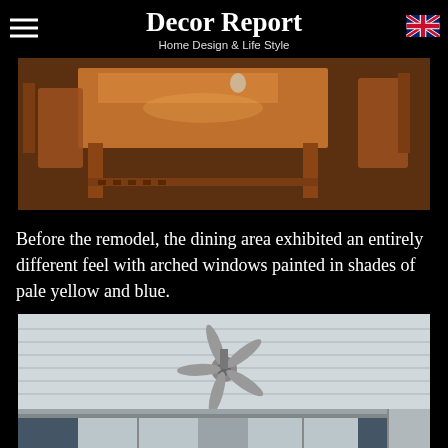Decor Report
Home Design & Life Style
[Figure (photo): Wooden dining table with matching chairs, viewed from the side, showing slatted lower shelf and warm brown tones.]
Before the remodel, the dining area exhibited an entirely different feel with arched windows painted in shades of pale yellow and blue.
[Figure (photo): Interior room ceiling with white planked boards and a ceiling fan with five blades, with curtained windows visible at bottom.]